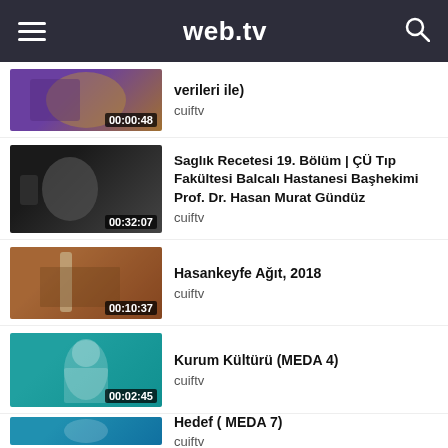web.tv
verileri ile)
cuiftv
00:00:48
Saglık Recetesi 19. Bölüm | ÇÜ Tıp Fakültesi Balcalı Hastanesi Başhekimi Prof. Dr. Hasan Murat Gündüz
cuiftv
00:32:07
Hasankeyfe Ağıt, 2018
cuiftv
00:10:37
Kurum Kültürü (MEDA 4)
cuiftv
00:02:45
Hedef ( MEDA 7)
cuiftv
00:02:37